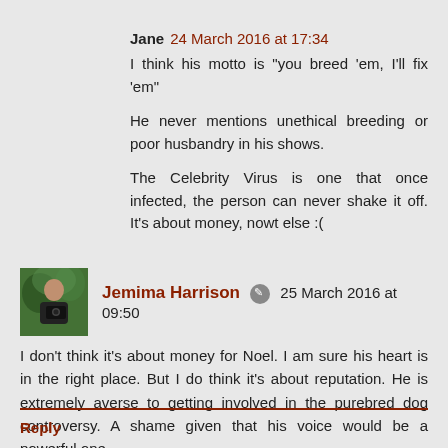Jane  24 March 2016 at 17:34
I think his motto is "you breed 'em, I'll fix 'em"
He never mentions unethical breeding or poor husbandry in his shows.
The Celebrity Virus is one that once infected, the person can never shake it off. It's about money, nowt else :(
[Figure (photo): Avatar photo of Jemima Harrison, a person holding a camera, outdoors green background]
Jemima Harrison  25 March 2016 at 09:50
I don't think it's about money for Noel. I am sure his heart is in the right place. But I do think it's about reputation. He is extremely averse to getting involved in the purebred dog controversy. A shame given that his voice would be a powerful one.
Reply